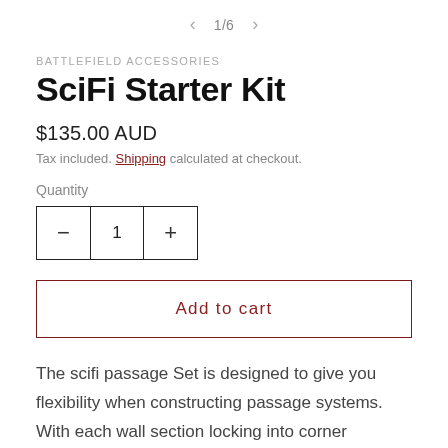< 1/6 >
BATTLEFIELD ACCESSORIES
SciFi Starter Kit
$135.00 AUD
Tax included. Shipping calculated at checkout.
Quantity
- 1 +
Add to cart
The scifi passage Set is designed to give you flexibility when constructing passage systems. With each wall section locking into corner columns it